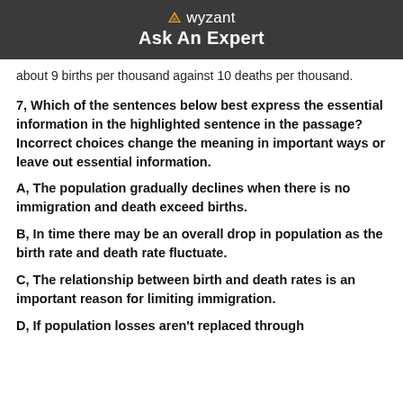wyzant Ask An Expert
about 9 births per thousand against 10 deaths per thousand.
7, Which of the sentences below best express the essential information in the highlighted sentence in the passage? Incorrect choices change the meaning in important ways or leave out essential information.
A, The population gradually declines when there is no immigration and death exceed births.
B, In time there may be an overall drop in population as the birth rate and death rate fluctuate.
C, The relationship between birth and death rates is an important reason for limiting immigration.
D, If population losses aren't replaced through